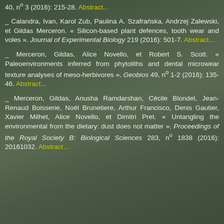40, n° 3 (2016): 215-28. Abstract...
_ Calandra, Ivan, Karol Zub, Paulina A. Szafrańska, Andrzej Zalewski, et Gildas Merceron. « Silicon-based plant defences, tooth wear and voles ». Journal of Experimental Biology 219 (2016): 501-7. Abstract…
_ Merceron, Gildas, Alice Novello, et Robert S. Scott. « Paleoenvironments inferred from phytoliths and dental microwear texture analyses of meso-herbivores ». Geobios 49, n° 1-2 (2016): 135-46. Abstract...
_ Merceron, Gildas, Anusha Ramdarshan, Cécile Blondel, Jean-Renaud Boisserie, Noël Brunetiere, Arthur Francisco, Denis Gautier, Xavier Milhet, Alice Novello, et Dimitri Pret. « Untangling the environmental from the dietary: dust does not matter ». Proceedings of the Royal Society B: Biological Sciences 283, n° 1838 (2016): 20161032. Abstract…